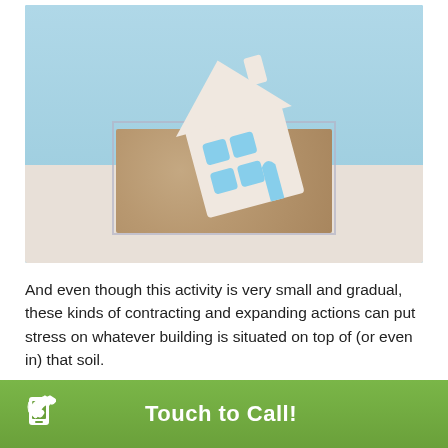[Figure (photo): A white house-shaped cutout tilted and partially buried in granular soil/pebbles inside a clear plastic container, set against a light blue background. Represents soil movement affecting building foundations.]
And even though this activity is very small and gradual, these kinds of contracting and expanding actions can put stress on whatever building is situated on top of (or even in) that soil.
Touch to Call!